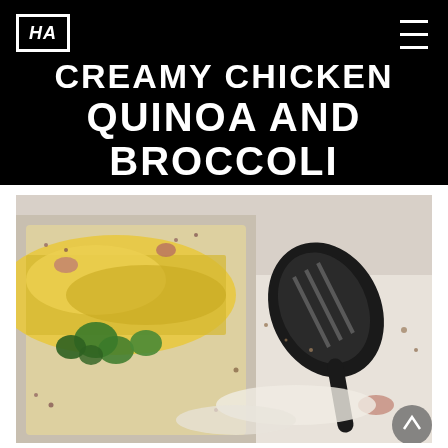HA
CREAMY CHICKEN QUINOA AND BROCCOLI BAKE
[Figure (photo): Close-up photo of a creamy chicken quinoa and broccoli bake in a baking dish, with a black slotted spoon resting beside it on a white surface. The casserole shows melted cheese on top with visible broccoli florets and quinoa.]